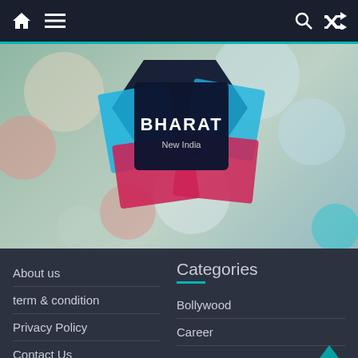Navigation bar with home, menu, search, and shuffle icons
[Figure (photo): Blurry bokeh background with colorful geometric shapes (blue, pink/red, dark navy) forming a logo reading 'BHARAT New India']
About us
term & condition
Privacy Policy
Contact Us
Categories
Bollywood
Career